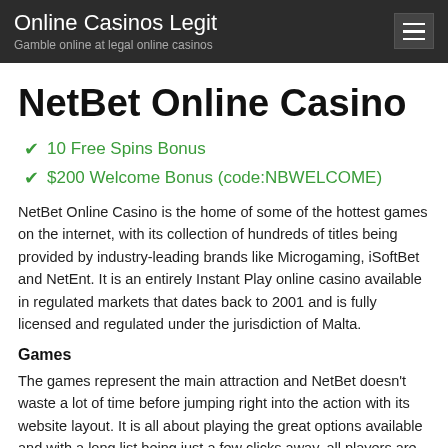Online Casinos Legit
Gamble online at legal online casinos
NetBet Online Casino
10 Free Spins Bonus
$200 Welcome Bonus (code:NBWELCOME)
NetBet Online Casino is the home of some of the hottest games on the internet, with its collection of hundreds of titles being provided by industry-leading brands like Microgaming, iSoftBet and NetEnt. It is an entirely Instant Play online casino available in regulated markets that dates back to 2001 and is fully licensed and regulated under the jurisdiction of Malta.
Games
The games represent the main attraction and NetBet doesn't waste a lot of time before jumping right into the action with its website layout. It is all about playing the great options available and with a long list being just a few clicks away, all players are guaranteed a